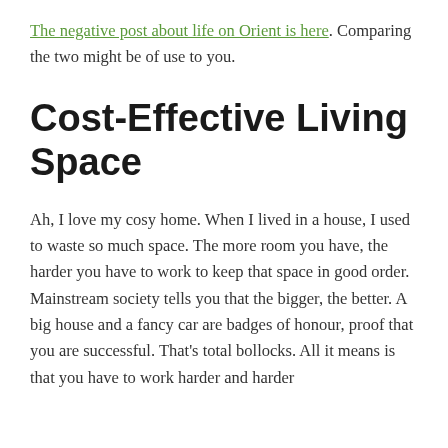The negative post about life on Orient is here. Comparing the two might be of use to you.
Cost-Effective Living Space
Ah, I love my cosy home. When I lived in a house, I used to waste so much space. The more room you have, the harder you have to work to keep that space in good order. Mainstream society tells you that the bigger, the better. A big house and a fancy car are badges of honour, proof that you are successful. That's total bollocks. All it means is that you have to work harder and harder